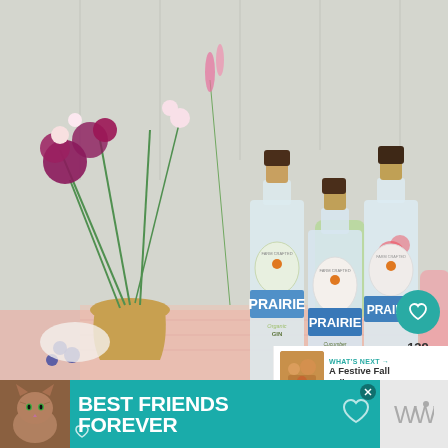[Figure (photo): Photo of three Prairie organic spirit bottles (Organic Gin, Cucumber Flavored Organic Vodka, and Prairie vodka) with cork/brown caps, surrounded by pink and white flowers in a vase, colorful cocktail drinks, and blueberries on a pink checkered cloth.]
139
WHAT'S NEXT → A Festive Fall Tailgate Party
[Figure (photo): Small thumbnail image of a festive fall tailgate party food spread.]
[Figure (photo): Advertisement banner with teal/turquoise background featuring a cat photo and text reading BEST FRIENDS FOREVER with heart icons.]
BEST FRIENDS FOREVER